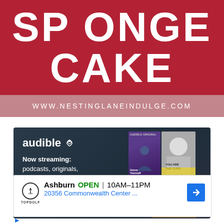[Figure (other): Red background header banner with large white bold text reading 'SPONGE CAKE' in two lines]
WWW.NESTINGLANEINDULGE.COM
[Figure (other): Audible advertisement showing the Audible logo, text 'Now streaming: podcasts, originals, and more', book cover thumbnails including 'Honor Yourself' and 'GURU', and a yellow button]
[Figure (other): TopGolf advertisement showing 'Ashburn OPEN | 10AM-11PM' and '20356 Commonwealth Center ...' with a blue navigation arrow and TopGolf logo]